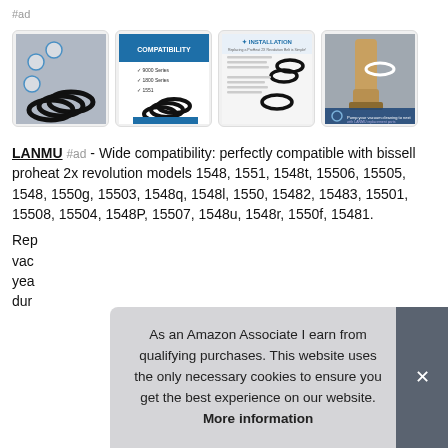#ad
[Figure (photo): Four product thumbnail images showing vacuum belt rings/bands with product compatibility and installation info]
LANMU #ad - Wide compatibility: perfectly compatible with bissell proheat 2x revolution models 1548, 1551, 1548t, 15506, 15505, 1548, 1550g, 15503, 1548q, 1548l, 1550, 15482, 15483, 15501, 15508, 15504, 1548P, 15507, 1548u, 1548r, 1550f, 15481.
Rep[lacement belt for vacuum...] vac[uum] yea[rs] dur[able]
As an Amazon Associate I earn from qualifying purchases. This website uses the only necessary cookies to ensure you get the best experience on our website. More information